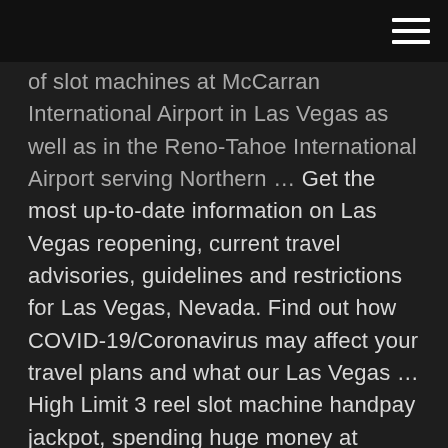[Navigation header with hamburger menu]
of slot machines at McCarran International Airport in Las Vegas as well as in the Reno-Tahoe International Airport serving Northern … Get the most up-to-date information on Las Vegas reopening, current travel advisories, guidelines and restrictions for Las Vegas, Nevada. Find out how COVID-19/Coronavirus may affect your travel plans and what our Las Vegas … High Limit 3 reel slot machine handpay jackpot, spending huge money at casino, high limit huff n puff slot machine handpay jackpot, high limit lightning link Get ready to play Old Vegas Slots in a stunning new way. Take a journey and visit world-famous Las Vegas landmarks and play free classic 777 slot machines. Your Vegas road trip will feature HUGE progressive jackpots, mega payouts & real casino odds. The